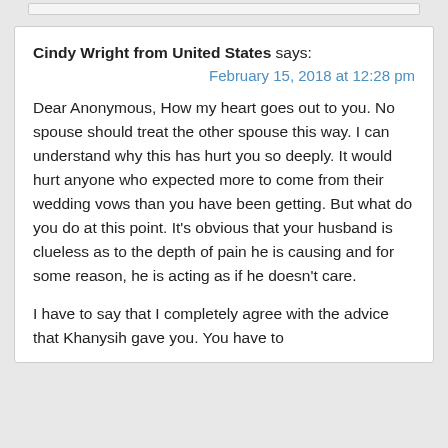Cindy Wright from United States says:
February 15, 2018 at 12:28 pm
Dear Anonymous, How my heart goes out to you. No spouse should treat the other spouse this way. I can understand why this has hurt you so deeply. It would hurt anyone who expected more to come from their wedding vows than you have been getting. But what do you do at this point. It’s obvious that your husband is clueless as to the depth of pain he is causing and for some reason, he is acting as if he doesn’t care.
I have to say that I completely agree with the advice that Khanysih gave you. You have to